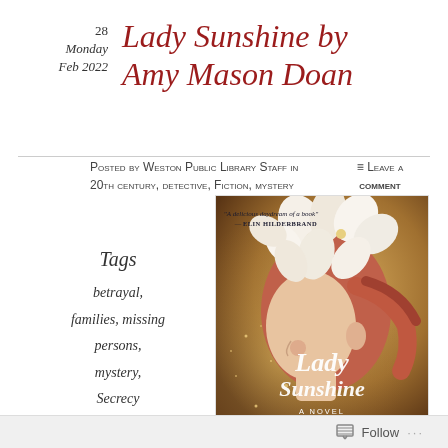28
Monday
Feb 2022
Lady Sunshine by Amy Mason Doan
Posted by Weston Public Library Staff in 20th century, detective, Fiction, mystery
≡ Leave a comment
Tags
betrayal,
families, missing persons,
mystery,
Secrecy
[Figure (illustration): Book cover of Lady Sunshine by Amy Mason Doan showing a woman in profile with white flowers in her red hair, with the text 'Lady Sunshine A Novel' and a quote 'A delicious daydream of a book — Elin Hilderbrand']
Follow